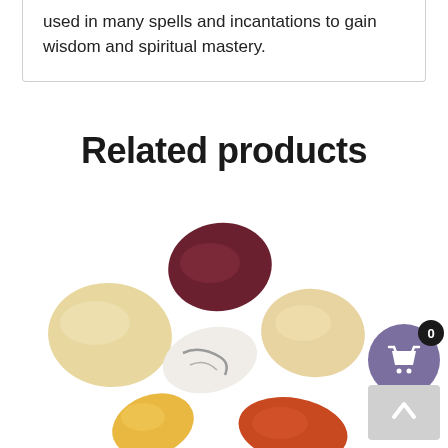used in many spells and incantations to gain wisdom and spiritual mastery.
Related products
[Figure (photo): Several tumbled gemstones and crystals of various colors including dark maroon/red, cream/beige, white with gray veining, and orange-red arranged on a white background. A purple shopping basket button with a black badge showing '0' and a gray scroll-to-top button are visible on the right side.]